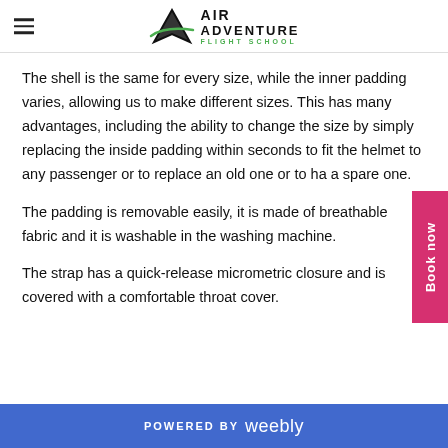Air Adventure Flight School
The shell is the same for every size, while the inner padding varies, allowing us to make different sizes. This has many advantages, including the ability to change the size by simply replacing the inside padding within seconds to fit the helmet to any passenger or to replace an old one or to ha a spare one.
The padding is removable easily, it is made of breathable fabric and it is washable in the washing machine.
The strap has a quick-release micrometric closure and is covered with a comfortable throat cover.
POWERED BY weebly